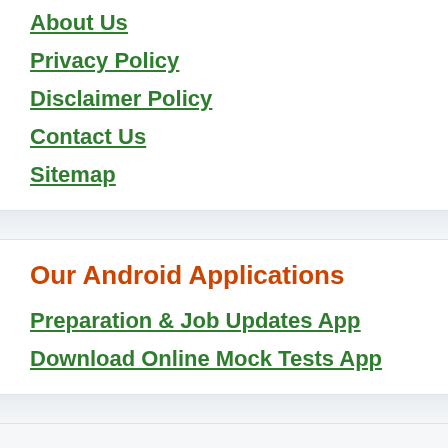About Us
Privacy Policy
Disclaimer Policy
Contact Us
Sitemap
Our Android Applications
Preparation & Job Updates App
Download Online Mock Tests App
Our Subjectwise India